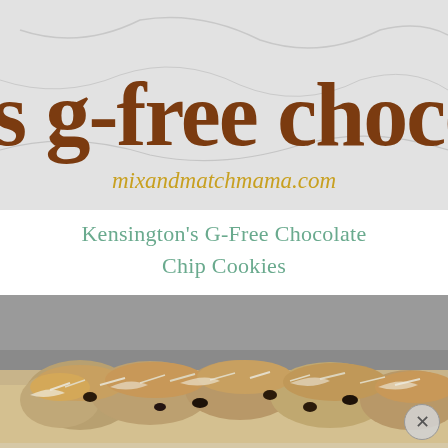[Figure (photo): Banner image with text 's g-free chocolate c' in brown handwritten font and 'mixandmatchmama.com' in gold script on a light gray marble background]
Kensington’s G-Free Chocolate Chip Cookies
[Figure (photo): Close-up photo of gluten-free chocolate chip cookies with shredded coconut on a gray background, cookies appear golden and lumpy with visible chocolate chips]